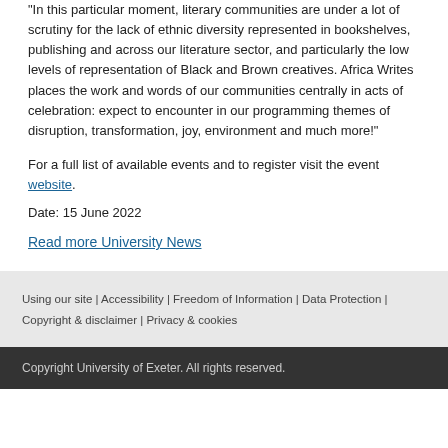"In this particular moment, literary communities are under a lot of scrutiny for the lack of ethnic diversity represented in bookshelves, publishing and across our literature sector, and particularly the low levels of representation of Black and Brown creatives. Africa Writes places the work and words of our communities centrally in acts of celebration: expect to encounter in our programming themes of disruption, transformation, joy, environment and much more!"
For a full list of available events and to register visit the event website.
Date: 15 June 2022
Read more University News
Using our site | Accessibility | Freedom of Information | Data Protection | Copyright & disclaimer | Privacy & cookies
Copyright University of Exeter. All rights reserved.